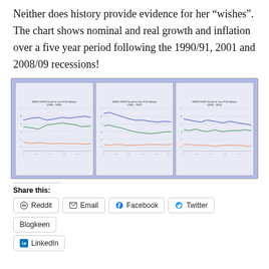Neither does history provide evidence for her “wishes”. The chart shows nominal and real growth and inflation over a five year period following the 1990/91, 2001 and 2008/09 recessions!
[Figure (line-chart): Three side-by-side line charts showing NGDP, RGDP Growth & Core PCE Inflation for periods 1990-1995, 2001-2007, and 2010-2015. Each chart has three lines: blue (NGDP), green (RGDP), and orange (Core PCE Inflation).]
Share this:
Reddit
Email
Facebook
Twitter
Blogkeen
LinkedIn